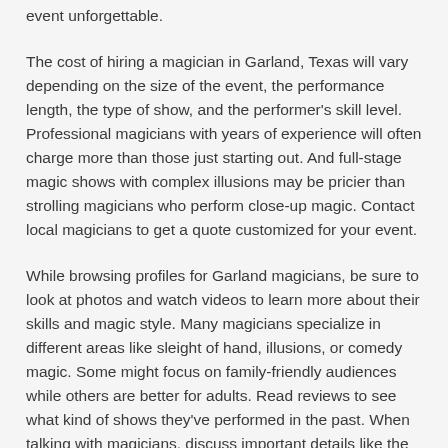event unforgettable.
The cost of hiring a magician in Garland, Texas will vary depending on the size of the event, the performance length, the type of show, and the performer's skill level. Professional magicians with years of experience will often charge more than those just starting out. And full-stage magic shows with complex illusions may be pricier than strolling magicians who perform close-up magic. Contact local magicians to get a quote customized for your event.
While browsing profiles for Garland magicians, be sure to look at photos and watch videos to learn more about their skills and magic style. Many magicians specialize in different areas like sleight of hand, illusions, or comedy magic. Some might focus on family-friendly audiences while others are better for adults. Read reviews to see what kind of shows they've performed in the past. When talking with magicians, discuss important details like the expected age and size of your audience, the venue layout or stage setup, and any other unique aspects of the event.